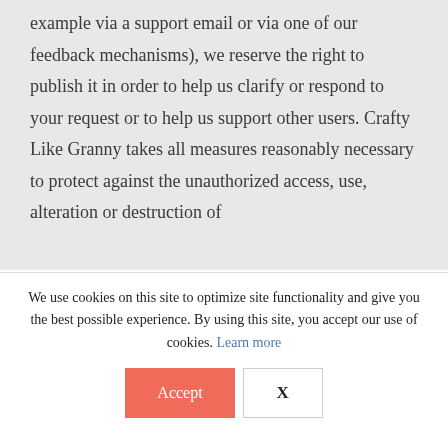example via a support email or via one of our feedback mechanisms), we reserve the right to publish it in order to help us clarify or respond to your request or to help us support other users. Crafty Like Granny takes all measures reasonably necessary to protect against the unauthorized access, use, alteration or destruction of
We use cookies on this site to optimize site functionality and give you the best possible experience. By using this site, you accept our use of cookies. Learn more